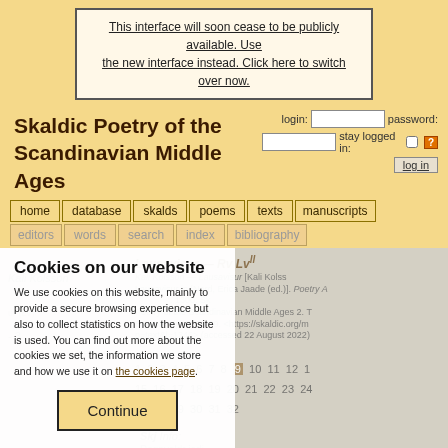This interface will soon cease to be publicly available. Use the new interface instead. Click here to switch over now.
Skaldic Poetry of the Scandinavian Middle Ages
login: [input] password: [input] stay logged in: [checkbox] [?] log in
home | database | skalds | poems | texts | manuscripts
editors | words | search | index | bibliography
Cookies on our website
We use cookies on this website, mainly to provide a secure browsing experience but also to collect statistics on how the website is used. You can find out more about the cookies we set, the information we store and how we use it on the cookies page.
Continue
Kali Kolsson — Lausavisur — Rv Lvll
1 2 3 4 5 6 7 8 9 10 11 12 13 14 15 16 17 18 19 20 21 22 23 24 27 28 29 30 31 32
Skj Info: